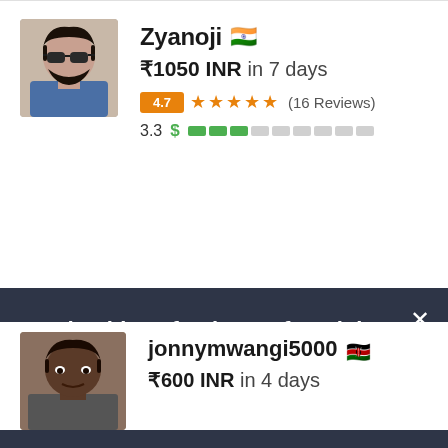[Figure (screenshot): Freelancer profile listing screenshot showing two freelancer cards and a 'Need to hire a freelancer for a job?' call-to-action banner with a 'Post a Project' button.]
Zyanoji 🇮🇳
₹1050 INR in 7 days
4.7 ★★★★★ (16 Reviews)
3.3 $ ▮▮▮▯▯▯▯▯▯▯
jonnymwangi5000 🇰🇪
₹600 INR in 4 days
Need to hire a freelancer for a job?
Post a Project